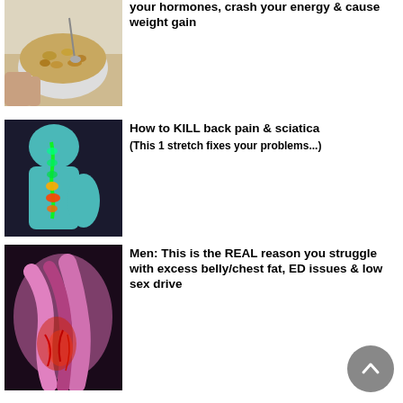[Figure (photo): Photo of a hand holding a bowl of cereal/granola near a window]
your hormones, crash your energy & cause weight gain
[Figure (photo): Medical illustration of a human figure with glowing spine showing back pain/sciatica]
How to KILL back pain & sciatica
(This 1 stretch fixes your problems...)
[Figure (photo): Medical illustration of a human shoulder/joint with inflammation shown in red/pink tones]
Men:  This is the REAL reason you struggle with excess belly/chest fat, ED issues & low sex drive